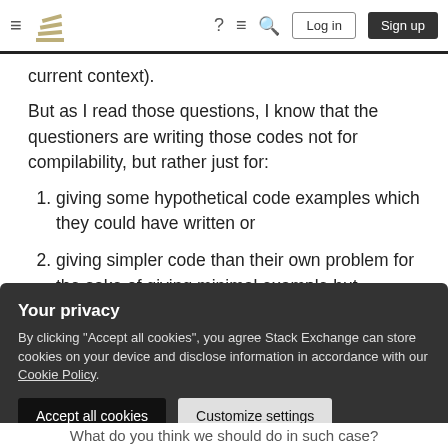Stack Exchange navigation bar with hamburger menu, logo, help, chat, search icons, Log in and Sign up buttons
current context).
But as I read those questions, I know that the questioners are writing those codes not for compilability, but rather just for:
giving some hypothetical code examples which they could have written or
giving simpler code than their own problem for the sake of giving minimal example but happen to have some typo errors
Your privacy
By clicking "Accept all cookies", you agree Stack Exchange can store cookies on your device and disclose information in accordance with our Cookie Policy.
What do you think we should do in such case?